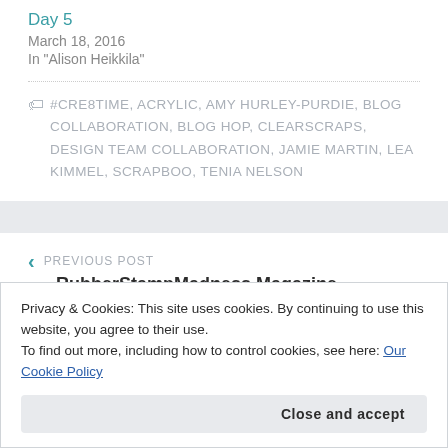Day 5
March 18, 2016
In "Alison Heikkila"
#CRE8TIME, ACRYLIC, AMY HURLEY-PURDIE, BLOG COLLABORATION, BLOG HOP, CLEARSCRAPS, DESIGN TEAM COLLABORATION, JAMIE MARTIN, LEA KIMMEL, SCRAPBOO, TENIA NELSON
PREVIOUS POST
RubberStampMadness Magazine
Privacy & Cookies: This site uses cookies. By continuing to use this website, you agree to their use.
To find out more, including how to control cookies, see here: Our Cookie Policy
Close and accept